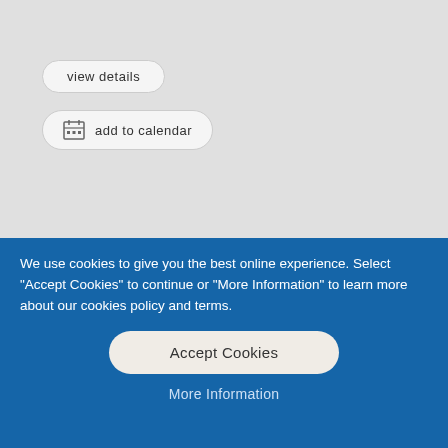[Figure (screenshot): Gray background top section of a webpage showing 'view details' and 'add to calendar' buttons]
view details
add to calendar
12:45-14:30
Thursday 9 June 2022
Posidonia Seminar Room 2B
Sterntubeless Vessels
We use cookies to give you the best online experience. Select “Accept Cookies” to continue or “More Information” to learn more about our cookies policy and terms.
Accept Cookies
More Information